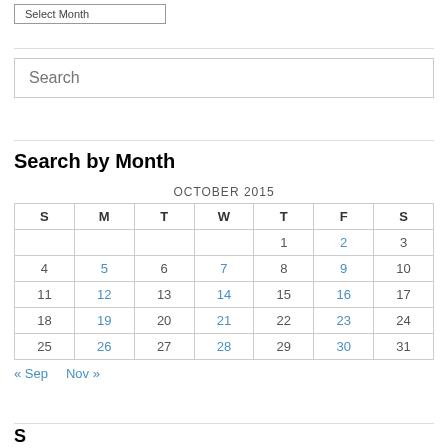Select Month
Search
Search by Month
| S | M | T | W | T | F | S |
| --- | --- | --- | --- | --- | --- | --- |
|  |  |  |  | 1 | 2 | 3 |
| 4 | 5 | 6 | 7 | 8 | 9 | 10 |
| 11 | 12 | 13 | 14 | 15 | 16 | 17 |
| 18 | 19 | 20 | 21 | 22 | 23 | 24 |
| 25 | 26 | 27 | 28 | 29 | 30 | 31 |
« Sep   Nov »